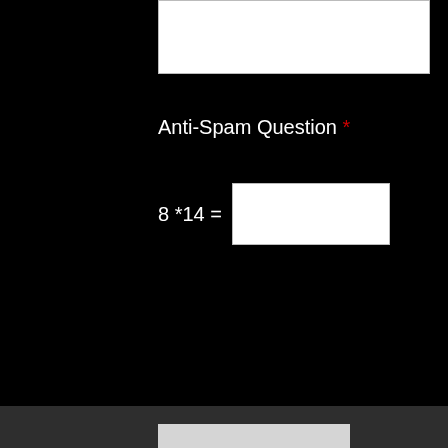[Figure (screenshot): Textarea input box (top portion visible, white background)]
Anti-Spam Question *
8 *14 =
[Figure (screenshot): Submit button on dark gray bar]
[Figure (logo): JB hexagon monogram logo in gray]
[Figure (logo): Facebook icon circle in gold/tan color]